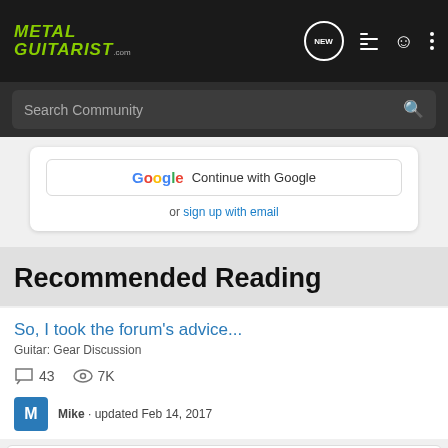METAL GUITARIST.com — navigation header with NEW, list, user, and menu icons
Search Community
Continue with Google
or sign up with email
Recommended Reading
So, I took the forum's advice...
Guitar: Gear Discussion
43   7K
Mike · updated Feb 14, 2017
RC hilli Inc
Recruitment Trends 2022
OPEN